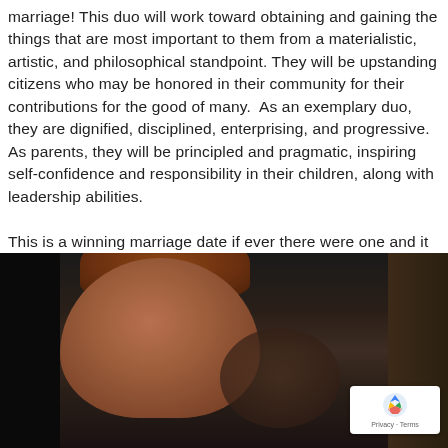marriage! This duo will work toward obtaining and gaining the things that are most important to them from a materialistic, artistic, and philosophical standpoint. They will be upstanding citizens who may be honored in their community for their contributions for the good of many. As an exemplary duo, they are dignified, disciplined, enterprising, and progressive. As parents, they will be principled and pragmatic, inspiring self-confidence and responsibility in their children, along with leadership abilities.

This is a winning marriage date if ever there were one and it is so interesting that it just happens to be the one of this Royal Couple!
[Figure (photo): Photograph of a red-haired man (likely Prince Harry) in the foreground, with another figure partially visible behind him. Dark background.]